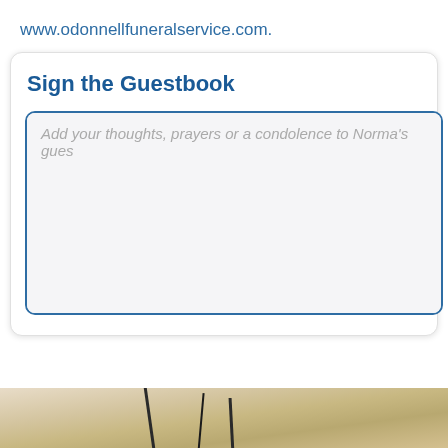www.odonnellfuneralservice.com.
Sign the Guestbook
Add your thoughts, prayers or a condolence to Norma's guestbook.
[Figure (photo): Decorative nature image at bottom of page showing sandy/earthy ground with dark sticks or twigs]